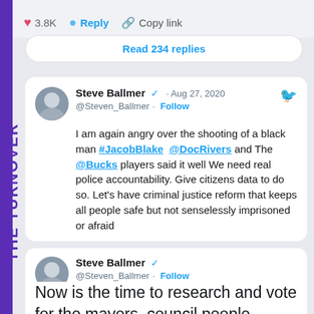3.8K  Reply  Copy link
Read 234 replies
Steve Ballmer @Steven_Ballmer · Aug 27, 2020 · Follow
I am again angry over the shooting of a black man #JacobBlake @DocRivers and The @Bucks players said it well We need real police accountability. Give citizens data to do so. Let's have criminal justice reform that keeps all people safe but not senselessly imprisoned or afraid
Steve Ballmer @Steven_Ballmer · Follow
Now is the time to research and vote for the mayors, council people, commissioners, legislators, governors, judges, prosecutors, and attorneys
THE TURNOVER